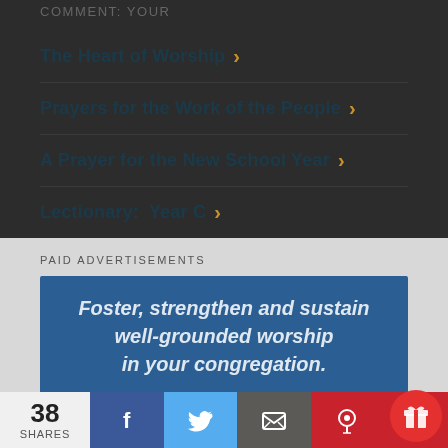COMMENT: YOUR
The Heart of Worship
Prayers for the Work of the People
A Prayer for the New School Year
Lectionary:  Year C
PAID ADVERTISEMENTS
[Figure (other): Blue advertisement banner with italic bold white text: Foster, strengthen and sustain well-grounded worship in your congregation.]
38 SHARES